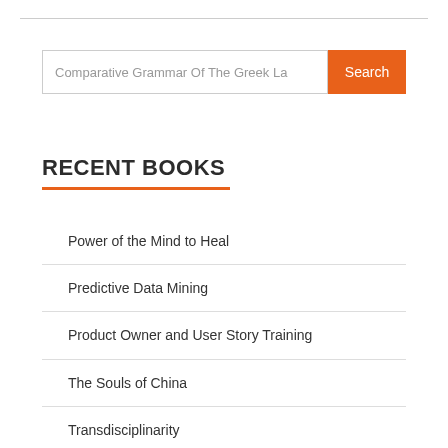Comparative Grammar Of The Greek La
RECENT BOOKS
Power of the Mind to Heal
Predictive Data Mining
Product Owner and User Story Training
The Souls of China
Transdisciplinarity